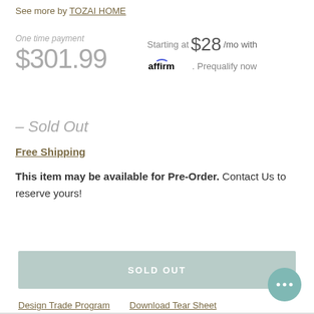See more by TOZAI HOME
One time payment $301.99
Starting at $28/mo with affirm. Prequalify now
– Sold Out
Free Shipping
This item may be available for Pre-Order. Contact Us to reserve yours!
SOLD OUT
Design Trade Program   Download Tear Sheet
Design Your Room With Daizy!